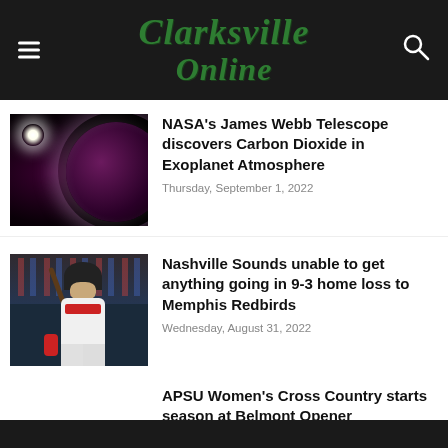Clarksville Online
NASA's James Webb Telescope discovers Carbon Dioxide in Exoplanet Atmosphere
Thursday, September 1, 2022
Nashville Sounds unable to get anything going in 9-3 home loss to Memphis Redbirds
Wednesday, August 31, 2022
APSU Women's Cross Country starts season at Belmont Opener
Wednesday, August 31, 2022